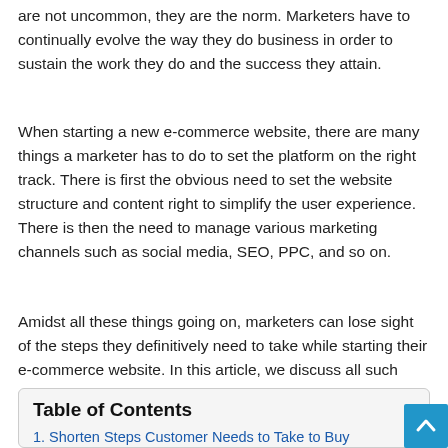are not uncommon, they are the norm. Marketers have to continually evolve the way they do business in order to sustain the work they do and the success they attain.
When starting a new e-commerce website, there are many things a marketer has to do to set the platform on the right track. There is first the obvious need to set the website structure and content right to simplify the user experience. There is then the need to manage various marketing channels such as social media, SEO, PPC, and so on.
Amidst all these things going on, marketers can lose sight of the steps they definitively need to take while starting their e-commerce website. In this article, we discuss all such steps.
Table of Contents
1. Shorten Steps Customer Needs to Take to Buy Something